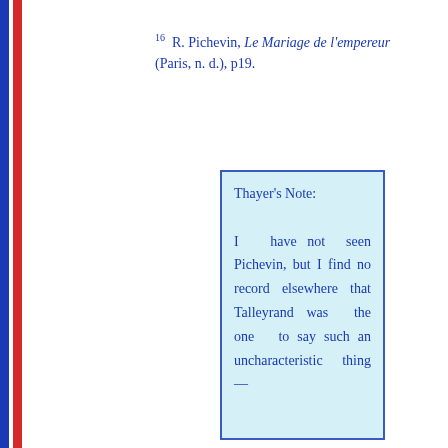16  R. Pichevin, Le Mariage de l'empereur (Paris, n. d.), p19.
Thayer's Note: I have not seen Pichevin, but I find no record elsewhere that Talleyrand was the one to say such an uncharacteristic thing —